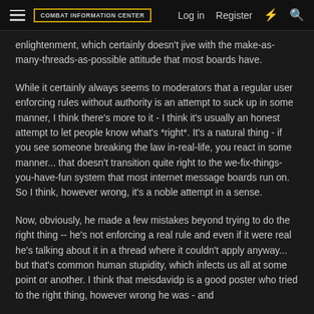COMBAT INFORMATION CENTER | Log in | Register
enlightenment, which certainly doesn't jive with the make-as-many-threads-as-possible attitude that most boards have.
While it certainly always seems to moderators that a regular user enforcing rules without authority is an attempt to suck up in some manner, I think there's more to it - I think it's usually an honest attempt to let people know what's *right*. It's a natural thing - if you see someone breaking the law in-real-life, you react in some manner... that doesn't transition quite right to the we-fix-things-you-have-fun system that most internet message boards run on. So I think, however wrong, it's a noble attempt in a sense.
Now, obviously, he made a few mistakes beyond trying to do the right thing -- he's not enforcing a real rule and even if it were real he's talking about it in a thread where it couldn't apply anyway... but that's common human stupidity, which infects us all at some point or another. I think that meisdavidp is a good poster who tried to the right thing, however wrong he was - and